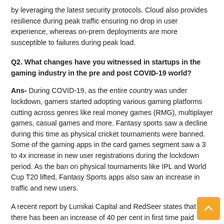by leveraging the latest security protocols. Cloud also provides resilience during peak traffic ensuring no drop in user experience, whereas on-prem deployments are more susceptible to failures during peak load.
Q2. What changes have you witnessed in startups in the gaming industry in the pre and post COVID-19 world?
Ans- During COVID-19, as the entire country was under lockdown, gamers started adopting various gaming platforms cutting across genres like real money games (RMG), multiplayer games, casual games and more. Fantasy sports saw a decline during this time as physical cricket tournaments were banned. Some of the gaming apps in the card games segment saw a 3 to 4x increase in new user registrations during the lockdown period. As the ban on physical tournaments like IPL and World Cup T20 lifted, Fantasy Sports apps also saw an increase in traffic and new users.
A recent report by Lumikai Capital and RedSeer states that there has been an increase of 40 per cent in first time paid users in 2020 and an increase of 50 per cent in 2021. The average weekly time spent on